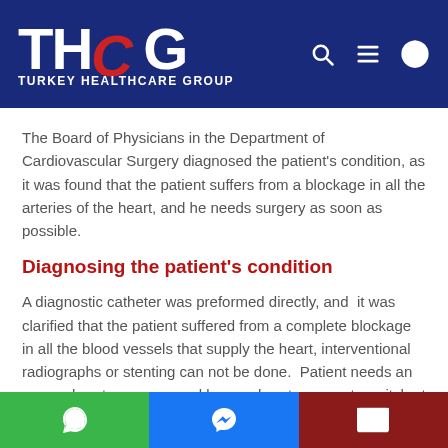[Figure (logo): Turkey Healthcare Group (THCG) logo on dark blue header with navigation icons (search, menu, globe)]
The Board of Physicians in the Department of Cardiovascular Surgery diagnosed the patient's condition, as it was found that the patient suffers from a blockage in all the arteries of the heart, and he needs surgery as soon as possible.
Diagnosing the patient's condition
A diagnostic catheter was preformed directly, and  it was clarified that the patient suffered from a complete blockage in all the blood vessels that supply the heart, interventional radiographs or stenting can not be done.  Patient needs an open – heart – surgery and bypass heart surgery to switch at least 3 arteries
[Figure (infographic): Bottom navigation bar with WhatsApp (green), Messenger (blue), and Email (dark red) buttons]